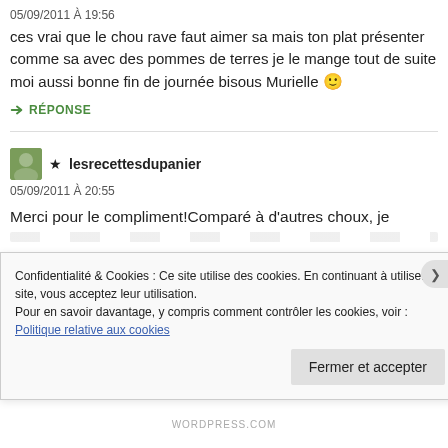05/09/2011 À 19:56
ces vrai que le chou rave faut aimer sa mais ton plat présenter comme sa avec des pommes de terres je le mange tout de suite moi aussi bonne fin de journée bisous Murielle 🙂
➜ RÉPONSE
★ lesrecettesdupanier
05/09/2011 À 20:55
Merci pour le compliment!Comparé à d'autres choux, je
Confidentialité & Cookies : Ce site utilise des cookies. En continuant à utiliser ce site, vous acceptez leur utilisation.
Pour en savoir davantage, y compris comment contrôler les cookies, voir :
Politique relative aux cookies
Fermer et accepter